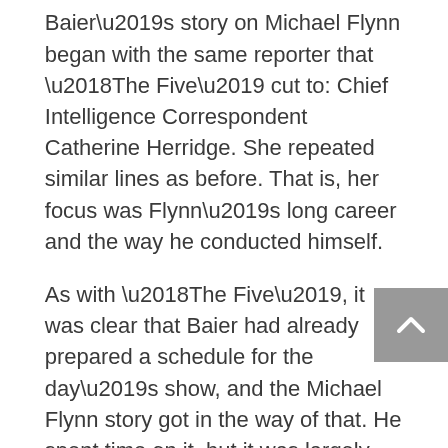Baier’s story on Michael Flynn began with the same reporter that ‘The Five’ cut to: Chief Intelligence Correspondent Catherine Herridge. She repeated similar lines as before. That is, her focus was Flynn’s long career and the way he conducted himself.
As with ‘The Five’, it was clear that Baier had already prepared a schedule for the day’s show, and the Michael Flynn story got in the way of that. He spent time on it, but it was largely minimized.
The probable involvement of Jared Kushner, for example, was not mentioned